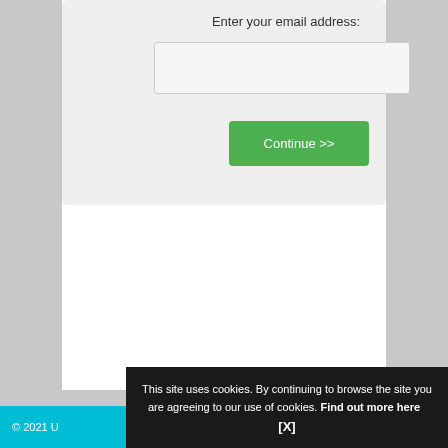Enter your email address:
[Figure (screenshot): Email input text field, empty, with light gray background and border]
[Figure (screenshot): Green 'Continue >>' button]
© 2021 U...
This site uses cookies. By continuing to browse the site you are agreeing to our use of cookies. Find out more here   [X]